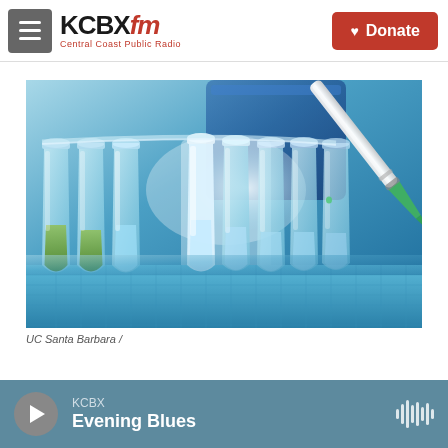KCBX FM — Central Coast Public Radio | Donate
[Figure (photo): Laboratory photo showing a row of PCR tubes/microcentrifuge vials with colored liquids and a pipette dispensing liquid into one of the tubes, with a blue background and bright lighting. Science/biology laboratory setting.]
UC Santa Barbara /
KCBX Evening Blues